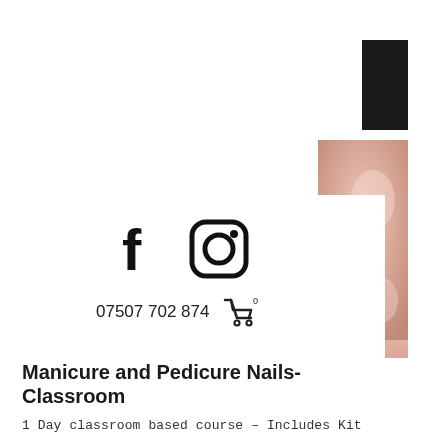[Figure (illustration): Dark black rectangle in top right corner, navigation element]
[Figure (photo): Close-up photo of manicured nails with pink/nude polish on the right side of the page]
[Figure (logo): Facebook 'f' logo icon in black]
[Figure (logo): Instagram camera icon in black outline]
07507 702 874
[Figure (illustration): Shopping cart icon with 0 badge]
[Figure (photo): Blurred band of manicured nails photo across the width]
Manicure and Pedicure Nails-Classroom
1 Day classroom based course – Includes Kit
View Details